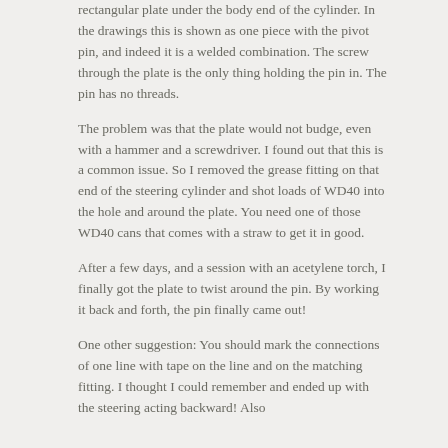rectangular plate under the body end of the cylinder. In the drawings this is shown as one piece with the pivot pin, and indeed it is a welded combination. The screw through the plate is the only thing holding the pin in. The pin has no threads.
The problem was that the plate would not budge, even with a hammer and a screwdriver. I found out that this is a common issue. So I removed the grease fitting on that end of the steering cylinder and shot loads of WD40 into the hole and around the plate. You need one of those WD40 cans that comes with a straw to get it in good.
After a few days, and a session with an acetylene torch, I finally got the plate to twist around the pin. By working it back and forth, the pin finally came out!
One other suggestion: You should mark the connections of one line with tape on the line and on the matching fitting. I thought I could remember and ended up with the steering acting backward! Also